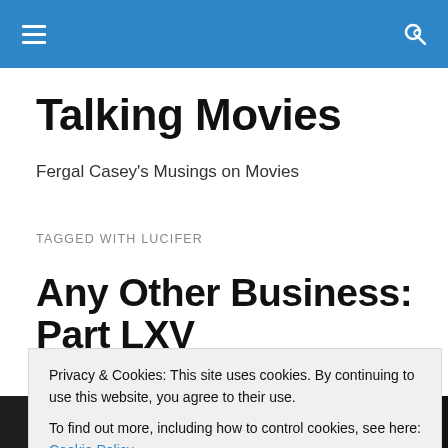Talking Movies — navigation bar with hamburger menu and search icon
Talking Movies
Fergal Casey's Musings on Movies
TAGGED WITH LUCIFER
Any Other Business: Part LXV
As the title suggests, so forth
Privacy & Cookies: This site uses cookies. By continuing to use this website, you agree to their use.
To find out more, including how to control cookies, see here: Cookie Policy
Close and accept
[Figure (photo): Dark background image strip with a red play button triangle visible, suggesting a video thumbnail at the bottom of the page.]